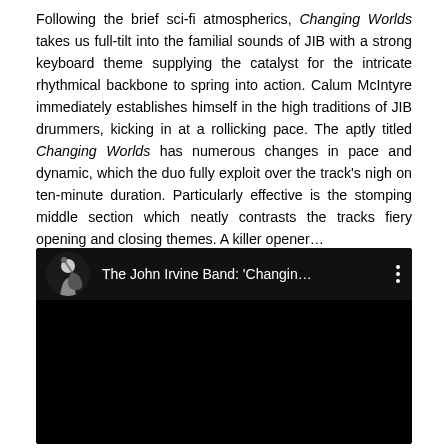Following the brief sci-fi atmospherics, Changing Worlds takes us full-tilt into the familial sounds of JIB with a strong keyboard theme supplying the catalyst for the intricate rhythmical backbone to spring into action. Calum McIntyre immediately establishes himself in the high traditions of JIB drummers, kicking in at a rollicking pace. The aptly titled Changing Worlds has numerous changes in pace and dynamic, which the duo fully exploit over the track's nigh on ten-minute duration. Particularly effective is the stomping middle section which neatly contrasts the tracks fiery opening and closing themes. A killer opener...
[Figure (screenshot): A YouTube video embed/thumbnail showing 'The John Irvine Band: Changin...' with a circular thumbnail image of a guitarist on a dark background, and a three-dot menu icon on the right.]